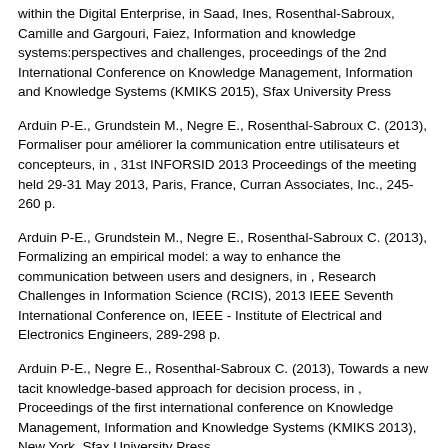within the Digital Enterprise, in Saad, Ines, Rosenthal-Sabroux, Camille and Gargouri, Faiez, Information and knowledge systems:perspectives and challenges, proceedings of the 2nd International Conference on Knowledge Management, Information and Knowledge Systems (KMIKS 2015), Sfax University Press
Arduin P-E., Grundstein M., Negre E., Rosenthal-Sabroux C. (2013), Formaliser pour améliorer la communication entre utilisateurs et concepteurs, in , 31st INFORSID 2013 Proceedings of the meeting held 29-31 May 2013, Paris, France, Curran Associates, Inc., 245-260 p.
Arduin P-E., Grundstein M., Negre E., Rosenthal-Sabroux C. (2013), Formalizing an empirical model: a way to enhance the communication between users and designers, in , Research Challenges in Information Science (RCIS), 2013 IEEE Seventh International Conference on, IEEE - Institute of Electrical and Electronics Engineers, 289-298 p.
Arduin P-E., Negre E., Rosenthal-Sabroux C. (2013), Towards a new tacit knowledge-based approach for decision process, in , Proceedings of the first international conference on Knowledge Management, Information and Knowledge Systems (KMIKS 2013), New York, Sfax University Press
Arduin P-E., Doan Q., Grigori D., Grim-Yefsah M., Grundstein M., Negre